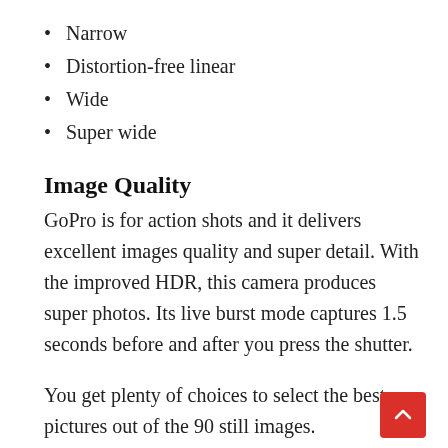Narrow
Distortion-free linear
Wide
Super wide
Image Quality
GoPro is for action shots and it delivers excellent images quality and super detail. With the improved HDR, this camera produces super photos. Its live burst mode captures 1.5 seconds before and after you press the shutter.
You get plenty of choices to select the best pictures out of the 90 still images.